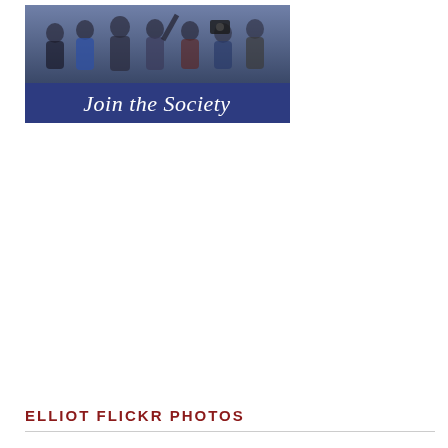[Figure (photo): Banner image showing a group of people at the top with a blue bar below reading 'Join the Society' in white serif italic text]
ELLIOT FLICKR PHOTOS